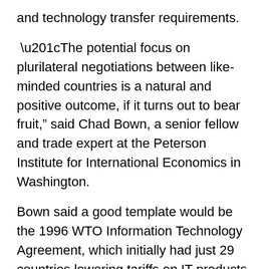and technology transfer requirements.
“The potential focus on plurilateral negotiations between like-minded countries is a natural and positive outcome, if it turns out to bear fruit,” said Chad Bown, a senior fellow and trade expert at the Peterson Institute for International Economics in Washington.
Bown said a good template would be the 1996 WTO Information Technology Agreement, which initially had just 29 countries lowering tariffs on IT products. That has since expanded to 82 countries covering 97 percent of trade in the sector.
The WTO conference’s chair, former Argentine Foreign Minister Susana Malcorra, defended the WTO’s need for unanimity among its large and unruly membership, saying it was the still the best forum to deal with trade disputes.